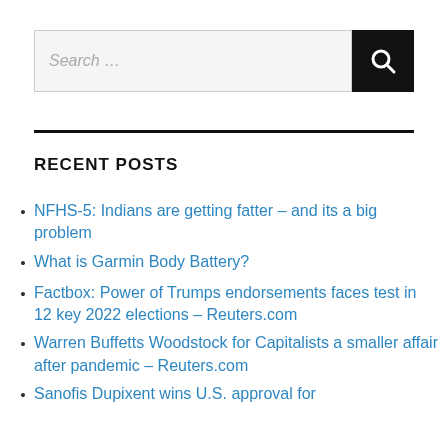Search …
RECENT POSTS
NFHS-5: Indians are getting fatter – and its a big problem
What is Garmin Body Battery?
Factbox: Power of Trumps endorsements faces test in 12 key 2022 elections – Reuters.com
Warren Buffetts Woodstock for Capitalists a smaller affair after pandemic – Reuters.com
Sanofis Dupixent wins U.S. approval for